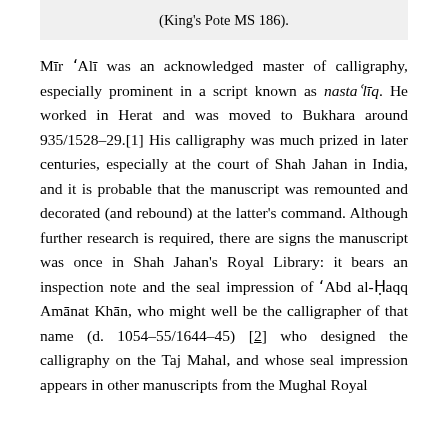(King's Pote MS 186).
Mīr 'Alī was an acknowledged master of calligraphy, especially prominent in a script known as nastaʿlīq. He worked in Herat and was moved to Bukhara around 935/1528–29.[1] His calligraphy was much prized in later centuries, especially at the court of Shah Jahan in India, and it is probable that the manuscript was remounted and decorated (and rebound) at the latter's command. Although further research is required, there are signs the manuscript was once in Shah Jahan's Royal Library: it bears an inspection note and the seal impression of 'Abd al-Ḥaqq Amānat Khān, who might well be the calligrapher of that name (d. 1054–55/1644–45) [2] who designed the calligraphy on the Taj Mahal, and whose seal impression appears in other manuscripts from the Mughal Royal